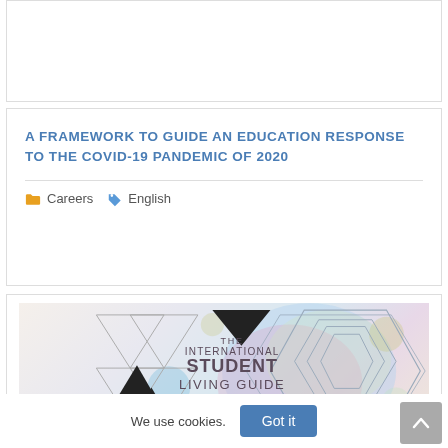A FRAMEWORK TO GUIDE AN EDUCATION RESPONSE TO THE COVID-19 PANDEMIC OF 2020
Careers   English
[Figure (illustration): Cover of 'The International Student Living Guide 2017' featuring geometric line art with hexagons, triangles (some filled black), overlapping colorful watercolor blobs in pink, blue, and yellow pastel tones.]
We use cookies.
Got it